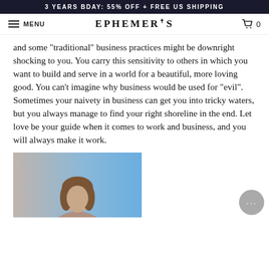3 YEARS BDAY: 55% OFF + FREE US SHIPPING
MENU  EPHEMERIS  0
and some "traditional" business practices might be downright shocking to you. You carry this sensitivity to others in which you want to build and serve in a world for a beautiful, more loving good. You can't imagine why business would be used for "evil". Sometimes your naivety in business can get you into tricky waters, but you always manage to find your right shoreline in the end. Let love be your guide when it comes to work and business, and you will always make it work.
[Figure (photo): Photo of a woman with brown hair against a blue/purple background]